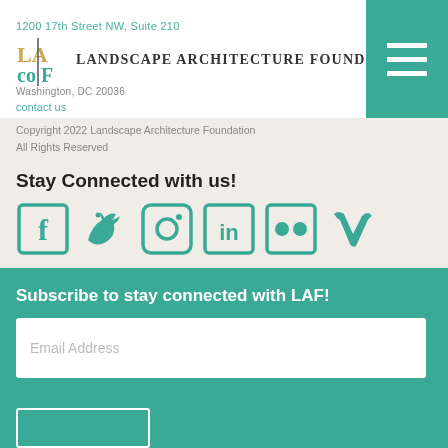1200 17th Street NW, Suite 210 | Washington, DC 20036 | Landscape Architecture Foundation | contact us
Copyright 2022 Landscape Architecture Foundation
All Rights Reserved
Stay Connected with us!
[Figure (infographic): Social media icons row: Facebook (box with f), Twitter (bird), Instagram (box with camera), LinkedIn (box with in), Flickr (box with two dots), Vimeo (v symbol) — all in teal color]
Subscribe to stay connected with LAF!
Email Address